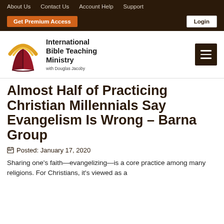About Us  Contact Us  Account Help  Support
Get Premium Access  Login
[Figure (logo): International Bible Teaching Ministry logo — open red book with golden arc above, organization name and tagline]
Almost Half of Practicing Christian Millennials Say Evangelism Is Wrong – Barna Group
Posted: January 17, 2020
Sharing one's faith—evangelizing—is a core practice among many religions. For Christians, it's viewed as a